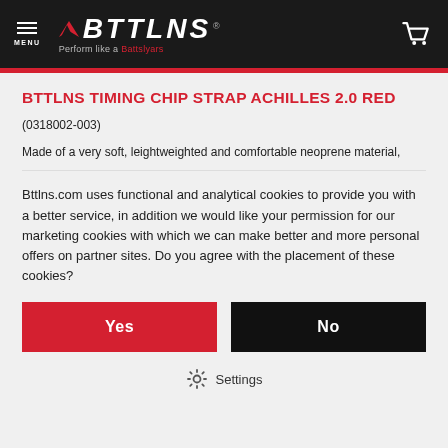MENU | BTTLNS Perform like a Battslyars
BTTLNS TIMING CHIP STRAP ACHILLES 2.0 RED
(0318002-003)
Made of a very soft, leightweighted and comfortable neoprene material,
Bttlns.com uses functional and analytical cookies to provide you with a better service, in addition we would like your permission for our marketing cookies with which we can make better and more personal offers on partner sites. Do you agree with the placement of these cookies?
Yes
No
Settings